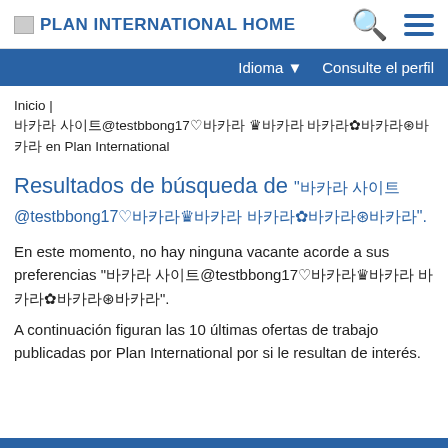PLAN INTERNATIONAL HOME
Idioma ▼   Consulte el perfil
Inicio | 바카라 사이트@testbbong17♡바카라 ♛바카라 바카라✿바카라⊛바카라 en Plan International
Resultados de búsqueda de "바카라 사이트@testbbong17♡바카라♛바카라 바카라✿바카라⊛바카라".
En este momento, no hay ninguna vacante acorde a sus preferencias "바카라 사이트@testbbong17♡바카라♛바카라 바카라✿바카라⊛바카라".
A continuación figuran las 10 últimas ofertas de trabajo publicadas por Plan International por si le resultan de interés.